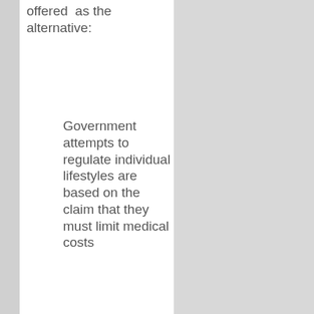offered as the alternative:
Government attempts to regulate individual lifestyles are based on the claim that they must limit medical costs